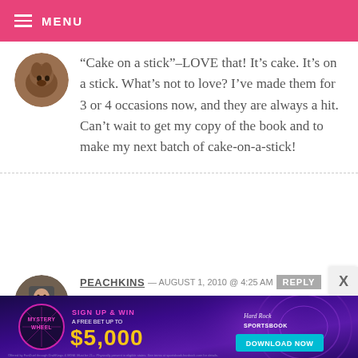MENU
“Cake on a stick”–LOVE that! It’s cake. It’s on a stick. What’s not to love? I’ve made them for 3 or 4 occasions now, and they are always a hit. Can’t wait to get my copy of the book and to make my next batch of cake-on-a-stick!
PEACHKINS — AUGUST 1, 2010 @ 4:25 AM   REPLY
Congrats! Awesome book!
[Figure (infographic): Advertisement banner: Mystery Wheel - Sign up & win a free bet up to $5,000, Hard Rock Sportsbook, Download Now button. Purple/blue background with glowing circular design.]